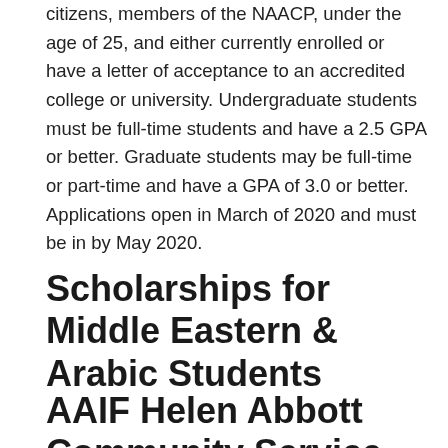citizens, members of the NAACP, under the age of 25, and either currently enrolled or have a letter of acceptance to an accredited college or university. Undergraduate students must be full-time students and have a 2.5 GPA or better. Graduate students may be full-time or part-time and have a GPA of 3.0 or better. Applications open in March of 2020 and must be in by May 2020.
Scholarships for Middle Eastern & Arabic Students
AAIF Helen Abbott Community Service Award